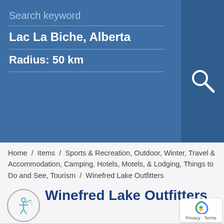Search keyword
Lac La Biche, Alberta
Radius:  50  km
[Figure (illustration): Search magnifier icon (Q) on right side of blue search panel]
Winefred Lake Outfitters
[Figure (logo): Circular logo with a small fishing/outdoor icon in teal color]
Home  /  Items  /  Sports & Recreation, Outdoor, Winter, Travel & Accommodation, Camping, Hotels, Motels, & Lodging, Things to Do and See, Tourism  /  Winefred Lake Outfitters
[Figure (logo): Google reCAPTCHA badge with shield icon and Privacy - Terms text]